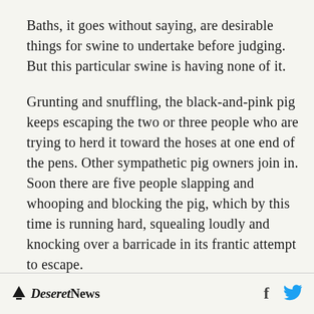Baths, it goes without saying, are desirable things for swine to undertake before judging. But this particular swine is having none of it.
Grunting and snuffling, the black-and-pink pig keeps escaping the two or three people who are trying to herd it toward the hoses at one end of the pens. Other sympathetic pig owners join in. Soon there are five people slapping and whooping and blocking the pig, which by this time is running hard, squealing loudly and knocking over a barricade in its frantic attempt to escape.
Deseret News